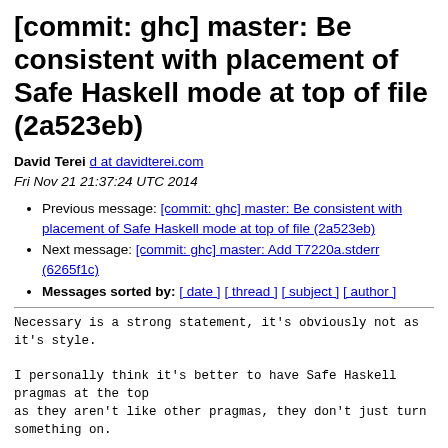[commit: ghc] master: Be consistent with placement of Safe Haskell mode at top of file (2a523eb)
David Terei   d at davidterei.com
Fri Nov 21 21:37:24 UTC 2014
Previous message: [commit: ghc] master: Be consistent with placement of Safe Haskell mode at top of file (2a523eb)
Next message: [commit: ghc] master: Add T7220a.stderr (6265f1c)
Messages sorted by: [ date ] [ thread ] [ subject ] [ author ]
Necessary is a strong statement, it's obviously not as
it's style.

I personally think it's better to have Safe Haskell
pragmas at the top
as they aren't like other pragmas, they don't just turn
something on.